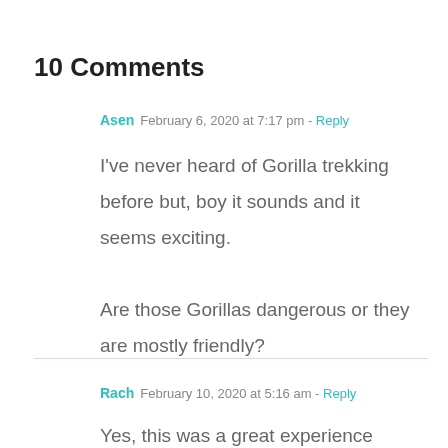10 Comments
Asen  February 6, 2020 at 7:17 pm - Reply
I've never heard of Gorilla trekking before but, boy it sounds and it seems exciting. Are those Gorillas dangerous or they are mostly friendly?
Rach  February 10, 2020 at 5:16 am - Reply
Yes, this was a great experience